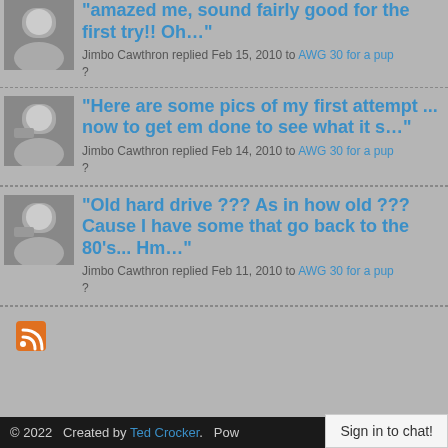"amazed me, sound fairly good for the first try!! Oh…"
Jimbo Cawthron replied Feb 15, 2010 to AWG 30 for a pup ?
"Here are some pics of my first attempt ... now to get em done to see what it s…"
Jimbo Cawthron replied Feb 14, 2010 to AWG 30 for a pup ?
"Old hard drive ??? As in how old ??? Cause I have some that go back to the 80's... Hm…"
Jimbo Cawthron replied Feb 11, 2010 to AWG 30 for a pup ?
[Figure (other): RSS feed icon (orange square with wifi-like symbol)]
© 2022   Created by Ted Crocker.   Pow...